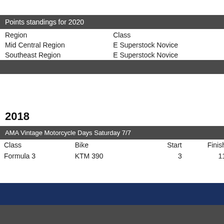Points standings for 2020
| Region | Class |
| --- | --- |
| Mid Central Region | E Superstock Novice |
| Southeast Region | E Superstock Novice |
2018
| Class | Bike | Start | Finish |
| --- | --- | --- | --- |
| Formula 3 | KTM 390 | 3 | 11 |